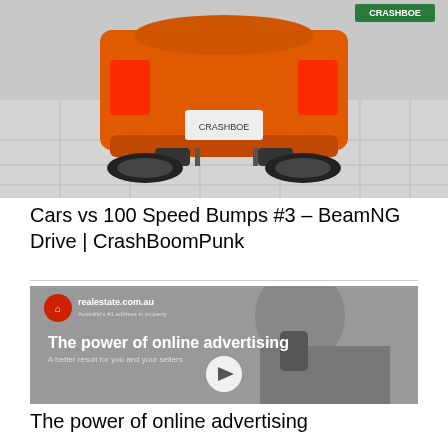[Figure (screenshot): Video thumbnail showing rear view of an orange sports car on a flat surface, with a CRASHBOE watermark in top right corner]
Cars vs 100 Speed Bumps #3 – BeamNG Drive | CrashBoomPunk
[Figure (screenshot): Video thumbnail for realestate.com.au showing a man in a suit talking on a phone, with text overlay 'The power of online advertising' and subtitle 'A better result for you and your sellers', with a play button circle in the center]
The power of online advertising